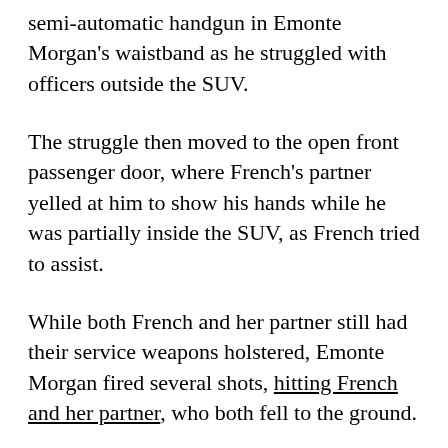semi-automatic handgun in Emonte Morgan's waistband as he struggled with officers outside the SUV.
The struggle then moved to the open front passenger door, where French's partner yelled at him to show his hands while he was partially inside the SUV, as French tried to assist.
While both French and her partner still had their service weapons holstered, Emonte Morgan fired several shots, hitting French and her partner, who both fell to the ground.
Their body cameras recorded Emonte Morgan emerging from the SUV with a gun in his left hand, according to prosecutors. He could then be seen stepping over the wounded officers before running